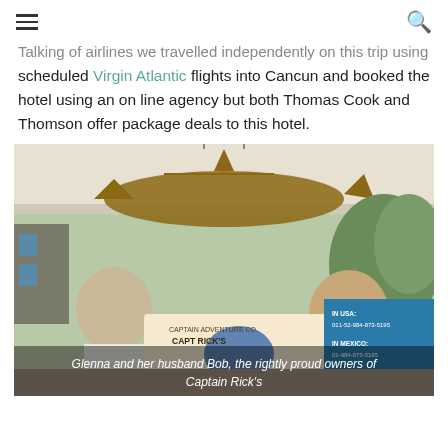[hamburger menu] [search icon]
Talking of airlines we travelled independently on this trip using scheduled Virgin Atlantic flights into Cancun and booked the hotel using an on line agency but both Thomas Cook and Thomson offer package deals to this hotel.
[Figure (photo): Photo of Glenna and her husband Bob standing in front of Captain Rick's Sport Fishing Center sign, with a large decorative marlin/sailfish hanging above them.]
Glenna and her husband Bob, the rightly proud owners of Captain Rick's